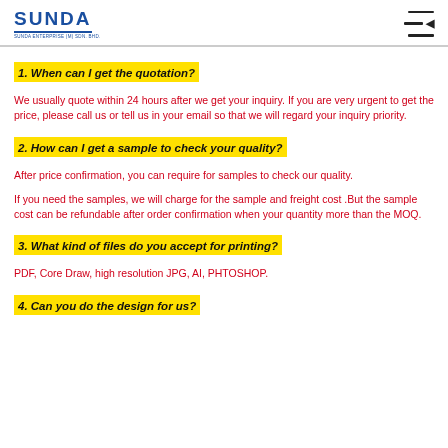SUNDA
1. When can I get the quotation?
We usually quote within 24 hours after we get your inquiry. If you are very urgent to get the price, please call us or tell us in your email so that we will regard your inquiry priority.
2. How can I get a sample to check your quality?
After price confirmation, you can require for samples to check our quality.
If you need the samples, we will charge for the sample and freight cost .But the sample cost can be refundable after order confirmation when your quantity more than the MOQ.
3. What kind of files do you accept for printing?
PDF, Core Draw, high resolution JPG, AI, PHTOSHOP.
4. Can you do the design for us?